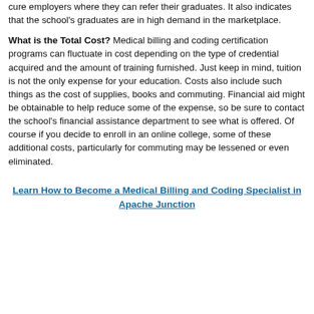cure employers where they can refer their graduates. It also indicates that the school's graduates are in high demand in the marketplace.
What is the Total Cost? Medical billing and coding certification programs can fluctuate in cost depending on the type of credential acquired and the amount of training furnished. Just keep in mind, tuition is not the only expense for your education. Costs also include such things as the cost of supplies, books and commuting. Financial aid might be obtainable to help reduce some of the expense, so be sure to contact the school's financial assistance department to see what is offered. Of course if you decide to enroll in an online college, some of these additional costs, particularly for commuting may be lessened or even eliminated.
Learn How to Become a Medical Billing and Coding Specialist in Apache Junction